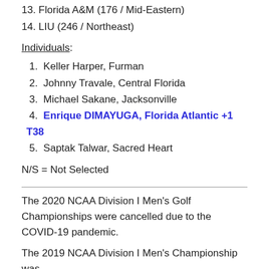13. Florida A&M (176 / Mid-Eastern)
14. LIU (246 / Northeast)
Individuals:
1. Keller Harper, Furman
2. Johnny Travale, Central Florida
3. Michael Sakane, Jacksonville
4. Enrique DIMAYUGA, Florida Atlantic +1 T38
5. Saptak Talwar, Sacred Heart
N/S = Not Selected
The 2020 NCAA Division I Men's Golf Championships were cancelled due to the COVID-19 pandemic.
The 2019 NCAA Division I Men's Championship was